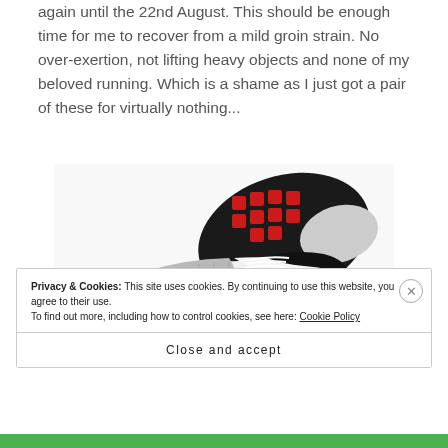again until the 22nd August. This should be enough time for me to recover from a mild groin strain. No over-exertion, not lifting heavy objects and none of my beloved running. Which is a shame as I just got a pair of these for virtually nothing...
[Figure (photo): Nike running shoes (white, silver, red and black) shown from the side and top/sole view]
Privacy & Cookies: This site uses cookies. By continuing to use this website, you agree to their use.
To find out more, including how to control cookies, see here: Cookie Policy
Close and accept